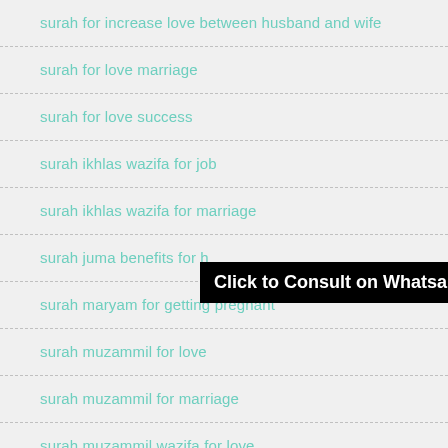surah for increase love between husband and wife
surah for love marriage
surah for love success
surah ikhlas wazifa for job
surah ikhlas wazifa for marriage
surah juma benefits for h…
surah maryam for getting pregnant
surah muzammil for love
surah muzammil for marriage
surah muzammil wazifa for love
Click to Consult on Whatsapp